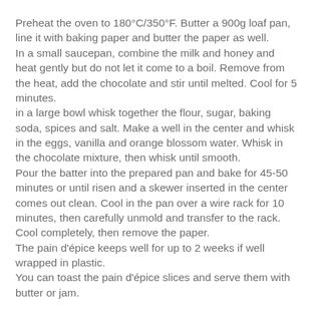Preheat the oven to 180°C/350°F. Butter a 900g loaf pan, line it with baking paper and butter the paper as well.
In a small saucepan, combine the milk and honey and heat gently but do not let it come to a boil. Remove from the heat, add the chocolate and stir until melted. Cool for 5 minutes.
in a large bowl whisk together the flour, sugar, baking soda, spices and salt. Make a well in the center and whisk in the eggs, vanilla and orange blossom water. Whisk in the chocolate mixture, then whisk until smooth.
Pour the batter into the prepared pan and bake for 45-50 minutes or until risen and a skewer inserted in the center comes out clean. Cool in the pan over a wire rack for 10 minutes, then carefully unmold and transfer to the rack. Cool completely, then remove the paper.
The pain d'épice keeps well for up to 2 weeks if well wrapped in plastic.
You can toast the pain d'épice slices and serve them with butter or jam.
*measuring honey by the spoonful is a pain in the neck – if you don't feel like doing that, go ahead and consider that l